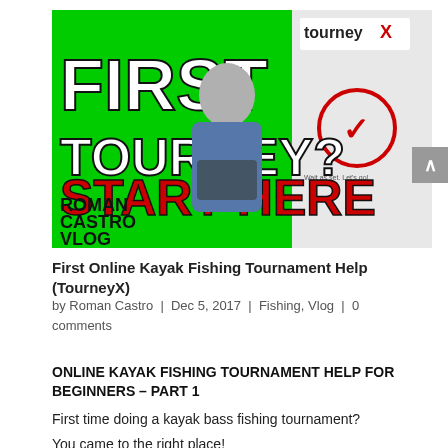[Figure (screenshot): YouTube thumbnail for 'First Online Kayak Fishing Tournament Help (TourneyX)'. Green background with large black and white text reading 'FIRST TOURNEY? START HERE', red bold text 'START HERE', bottom-left text 'ROMAN CASTRO VLOG', top-right TourneyX logo with checkmark icon, person wearing fishing vest and sunglasses in center.]
First Online Kayak Fishing Tournament Help (TourneyX)
by Roman Castro | Dec 5, 2017 | Fishing, Vlog | 0 comments
ONLINE KAYAK FISHING TOURNAMENT HELP FOR BEGINNERS – PART 1
First time doing a kayak bass fishing tournament?
You came to the right place!